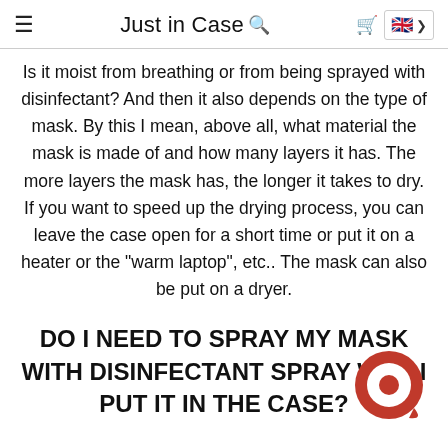Just in Case
Is it moist from breathing or from being sprayed with disinfectant? And then it also depends on the type of mask. By this I mean, above all, what material the mask is made of and how many layers it has. The more layers the mask has, the longer it takes to dry. If you want to speed up the drying process, you can leave the case open for a short time or put it on a heater or the "warm laptop", etc.. The mask can also be put on a dryer.
DO I NEED TO SPRAY MY MASK WITH DISINFECTANT SPRAY WHEN I PUT IT IN THE CASE?